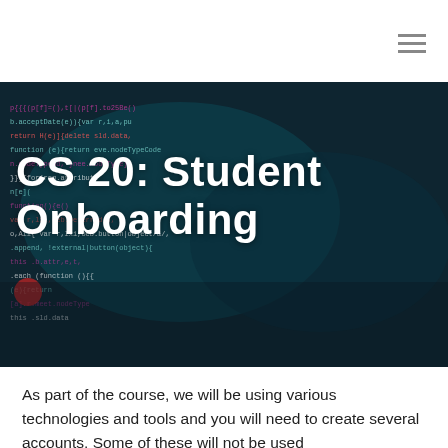[Figure (photo): A close-up photograph of a computer screen showing colorful programming code in various colors including teal, magenta, white, and red on a dark background, blurred/bokeh effect.]
CS 20: Student Onboarding
As part of the course, we will be using various technologies and tools and you will need to create several accounts. Some of these will not be used